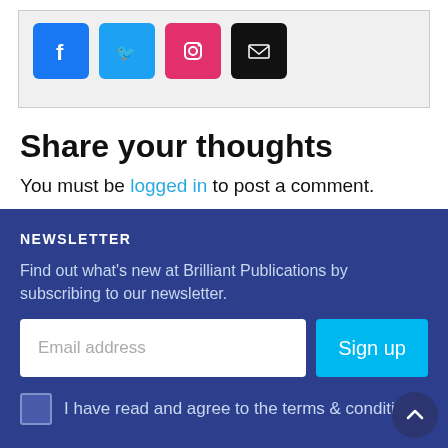[Figure (other): Social media icons: Facebook (blue), Twitter (light blue), Instagram (pink/red), Email (black)]
Share your thoughts
You must be logged in to post a comment.
NEWSLETTER
Find out what's new at Brilliant Publications by subscribing to our newsletter.
Email address
Sign up
I have read and agree to the terms & conditions